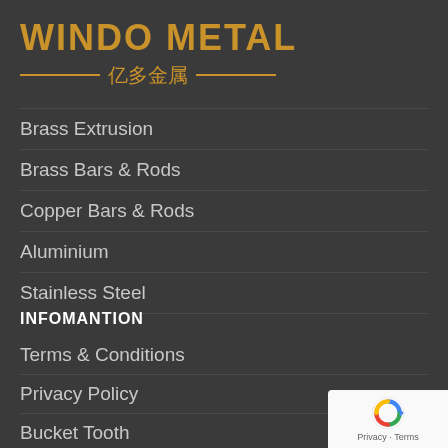WINDO METAL — 亿多金属 —
Brass Extrusion
Brass Bars & Rods
Copper Bars & Rods
Aluminium
Stainless Steel
INFOMANTION
Terms & Conditions
Privacy Policy
Bucket Tooth
Disclaimer